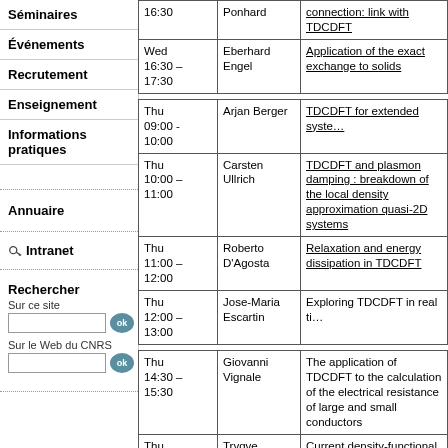Séminaires
Événements
Recrutement
Enseignement
Informations pratiques
Annuaire
Intranet
Rechercher
Sur ce site
Sur le Web du CNRS
| Time | Speaker | Title |
| --- | --- | --- |
| 16:30 | Ponhard | connection: link with TDCDFT |
| Wed 16:30 – 17:30 | Eberhard Engel | Application of the exact exchange to solids |
| Thu 09:00 - 10:00 | Arjan Berger | TDCDFT for extended systems |
| Thu 10:00 – 11:00 | Carsten Ullrich | TDCDFT and plasmon damping : breakdown of the local density approximation quasi-2D systems |
| Thu 11:00 – 12:00 | Roberto D'Agosta | Relaxation and energy dissipation in TDCDFT |
| Thu 12:00 – 13:00 | Jose-Maria Escartin | Exploring TDCDFT in real time |
| Thu 14:30 – 15:30 | Giovanni Vignale | The application of TDCDFT to the calculation of the electrical resistance of large and small conductors |
| Thu 15:30 – 16:30 | Trygve Helgaker | Current density-functional theory — the choice of variables and convex conjugation |